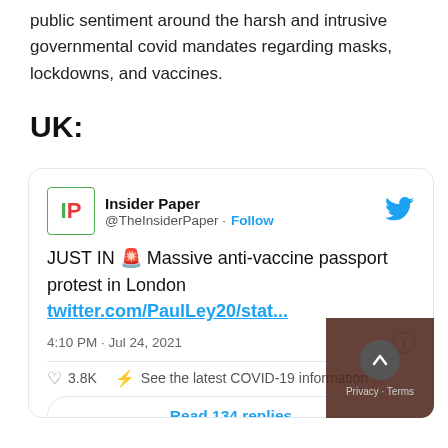public sentiment around the harsh and intrusive governmental covid mandates regarding masks, lockdowns, and vaccines.
UK:
[Figure (screenshot): Screenshot of a tweet from Insider Paper (@TheInsiderPaper) with text: 'JUST IN 🚨 Massive anti-vaccine passport protest in London twitter.com/PaulLey20/stat...' posted at 4:10 PM · Jul 24, 2021. Shows 3.8K likes and a COVID-19 information label. A 'Read 134 replies' button is shown at the bottom.]